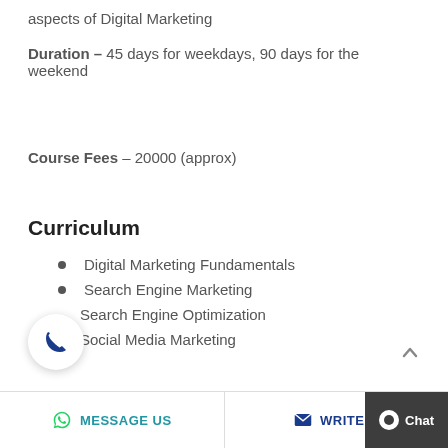aspects of Digital Marketing
Duration – 45 days for weekdays, 90 days for the weekend
Course Fees – 20000 (approx)
Curriculum
Digital Marketing Fundamentals
Search Engine Marketing
Search Engine Optimization
Social Media Marketing
MESSAGE US   WRITE U   Chat